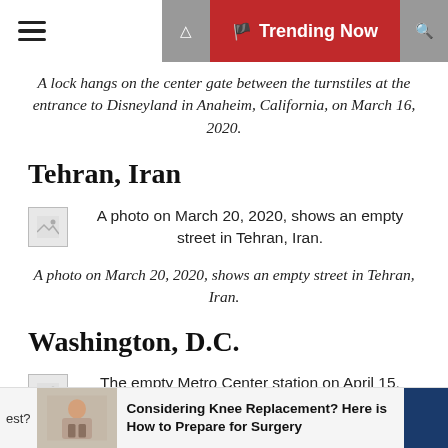≡  🚩 Trending Now
A lock hangs on the center gate between the turnstiles at the entrance to Disneyland in Anaheim, California, on March 16, 2020.
Tehran, Iran
[Figure (photo): Thumbnail placeholder image]
A photo on March 20, 2020, shows an empty street in Tehran, Iran.
A photo on March 20, 2020, shows an empty street in Tehran, Iran.
Washington, D.C.
[Figure (photo): Thumbnail placeholder image]
The empty Metro Center station on April 15, 2020, in Washington, D.C.
[Figure (photo): Advertisement banner - Considering Knee Replacement? Here is How to Prepare for Surgery]